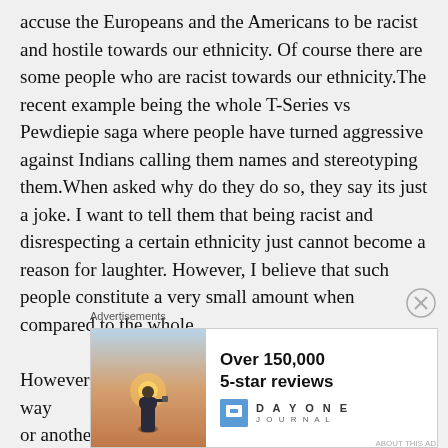accuse the Europeans and the Americans to be racist and hostile towards our ethnicity. Of course there are some people who are racist towards our ethnicity.The recent example being the whole T-Series vs Pewdiepie saga where people have turned aggressive against Indians calling them names and stereotyping them.When asked why do they do so, they say its just a joke. I want to tell them that being racist and disrespecting a certain ethnicity just cannot become a reason for laughter. However, I believe that such people constitute a very small amount when compared to the whole.

However, we Indians ourselves are racist in some way or another. For instance people living in Northern
[Figure (other): Advertisement banner: Over 150,000 5-star reviews for Day One Journal app, with a photo of a person photographing a sunset]